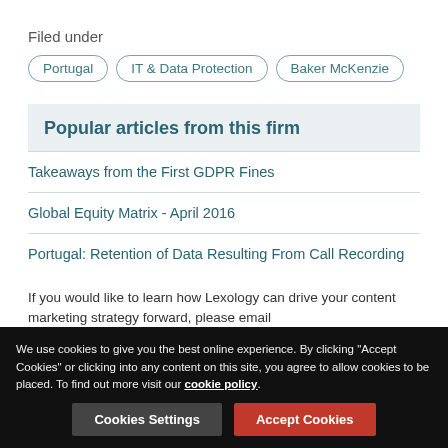Filed under
Portugal
IT & Data Protection
Baker McKenzie
Popular articles from this firm
Takeaways from the First GDPR Fines
Global Equity Matrix - April 2016
Portugal: Retention of Data Resulting From Call Recording
If you would like to learn how Lexology can drive your content marketing strategy forward, please email enquiries@lexology.com.
We use cookies to give you the best online experience. By clicking "Accept Cookies" or clicking into any content on this site, you agree to allow cookies to be placed. To find out more visit our cookie policy.